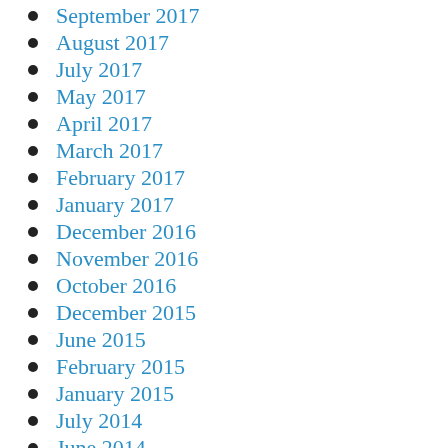September 2017
August 2017
July 2017
May 2017
April 2017
March 2017
February 2017
January 2017
December 2016
November 2016
October 2016
December 2015
June 2015
February 2015
January 2015
July 2014
June 2014